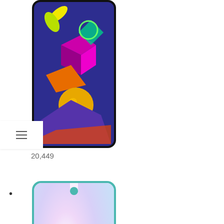[Figure (photo): Partial smartphone product image - colorful geometric wallpaper phone, top cut off]
20,449
•
[Figure (photo): Smartphone with lavender/pink gradient wallpaper, teardrop notch, teal border]
7,332
•
[Figure (photo): Partially visible smartphone at bottom - teal/blue gradient wallpaper]